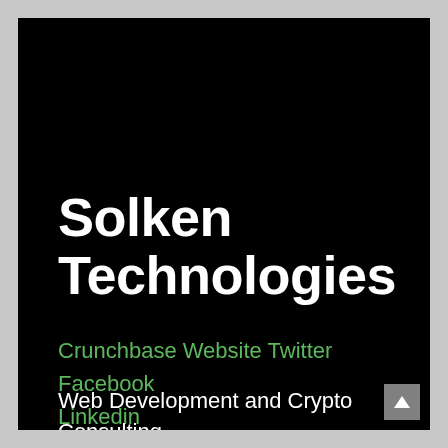Solken Technologies
Crunchbase Website Twitter Facebook Linkedin
Web Development and Crypto Consulting